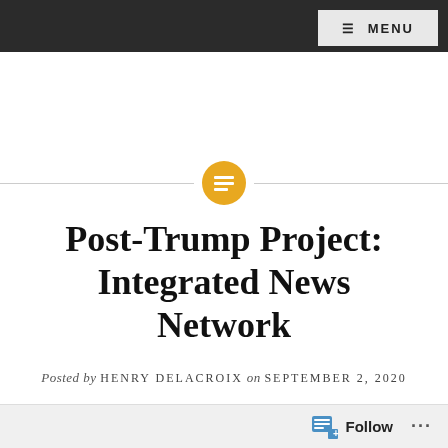MENU
[Figure (other): Horizontal divider line with a gold circular icon containing a lines/text symbol in the center]
Post-Trump Project: Integrated News Network
Posted by HENRY DELACROIX on SEPTEMBER 2, 2020
FOX News is turning leftward. If they want this to
Follow ...